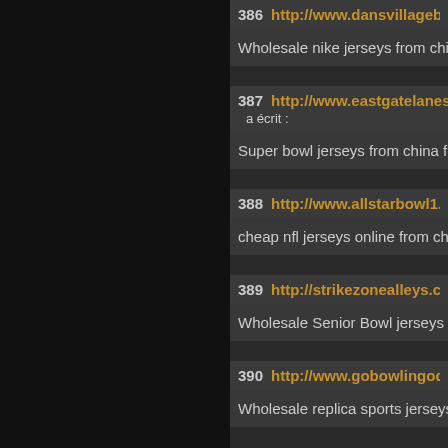386 http://www.dansvillagebowl. — Wholesale nike jerseys from china
387 http://www.eastgatelanesakr — a écrit : — Super bowl jerseys from china for s
388 http://www.allstarbowl1.com — cheap nfl jerseys online from china
389 http://strikezonealleys.com/A — Wholesale Senior Bowl jerseys
390 http://www.gobowlingodento — Wholesale replica sports jerseys fo